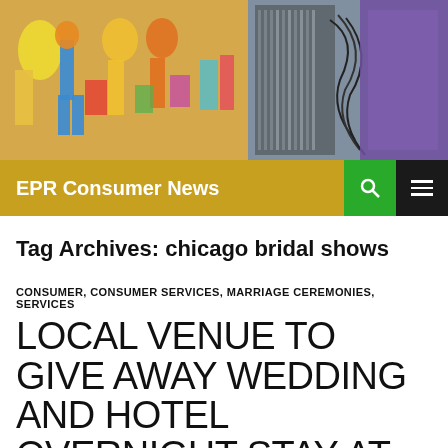[Figure (photo): Colorful collage header image showing people with shopping bags and other colorful items on the left, and electronic/mechanical components on the right]
EPR Consumer News
Tag Archives: chicago bridal shows
CONSUMER, CONSUMER SERVICES, MARRIAGE CEREMONIES, SERVICES
LOCAL VENUE TO GIVE AWAY WEDDING AND HOTEL OVERNIGHT STAY AT GAY LESBIAN WEDDING EXPO MARCH 22